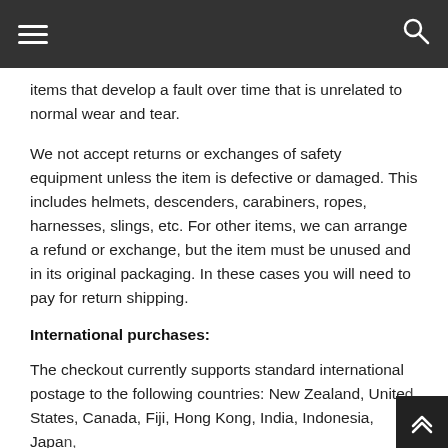items that develop a fault over time that is unrelated to normal wear and tear.
We not accept returns or exchanges of safety equipment unless the item is defective or damaged. This includes helmets, descenders, carabiners, ropes, harnesses, slings, etc. For other items, we can arrange a refund or exchange, but the item must be unused and in its original packaging. In these cases you will need to pay for return shipping.
International purchases:
The checkout currently supports standard international postage to the following countries: New Zealand, United States, Canada, Fiji, Hong Kong, India, Indonesia, Japan,